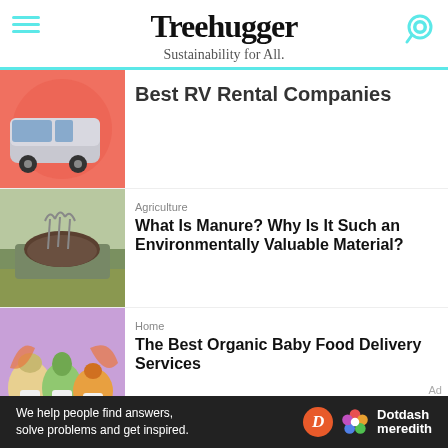Treehugger
Sustainability for All.
Best RV Rental Companies
Agriculture
What Is Manure? Why Is It Such an Environmentally Valuable Material?
Home
The Best Organic Baby Food Delivery Services
We help people find answers, solve problems and get inspired.
[Figure (logo): Dotdash Meredith logo with orange D circle and colorful flower icon]